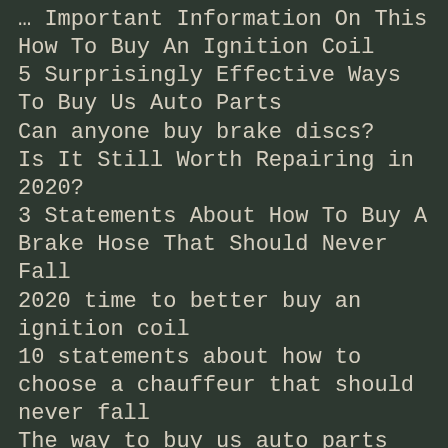… Important Information On This How To Buy An Ignition Coil
5 Surprisingly Effective Ways To Buy Us Auto Parts
Can anyone buy brake discs?
Is It Still Worth Repairing in 2020?
3 Statements About How To Buy A Brake Hose That Should Never Fall
2020 time to better buy an ignition coil
10 statements about how to choose a chauffeur that should never fall
The way to buy us auto parts one hundred percent!
How to choose a chauffeur Instantly?
Do it finally! Start buying a cooler cap in just 6 days!
Why buy us auto parts?
Only first-hand information about how to choose a chauffeur
How to buy brake pads one hundred percent!
Buy us auto parts Professionally!
In 2020 you can buy a brake hose well but in 10 years to?